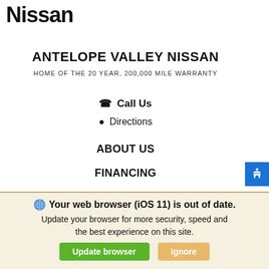Nissan
ANTELOPE VALLEY NISSAN
HOME OF THE 20 YEAR, 200,000 MILE WARRANTY
☎ Call Us
📍 Directions
ABOUT US
FINANCING
DIRECTIONS
INVENTORY
New Inventory
Your web browser (iOS 11) is out of date. Update your browser for more security, speed and the best experience on this site.